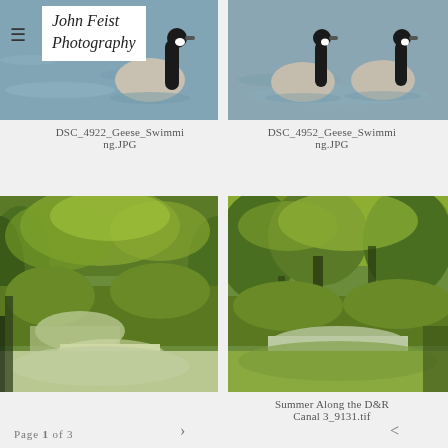John Feist Photography
[Figure (photo): Canada goose swimming in murky water, partially cropped at top]
[Figure (photo): Two Canada geese swimming in murky water]
DSC_4922_Geese_Swimming.JPG
DSC_4952_Geese_Swimming.JPG
[Figure (photo): Lush green summer trees along a canal or stream with reflections]
[Figure (photo): Summer scene along D&R Canal with green trees and water reflections]
Summer Along the D&R Canal 3_9131.tif
Page 1 of 3